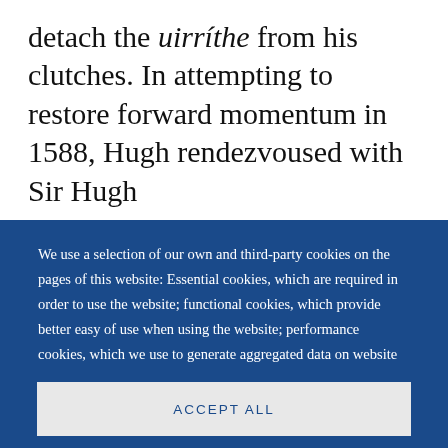detach the uirríthe from his clutches. In attempting to restore forward momentum in 1588, Hugh rendezvoused with Sir Hugh
We use a selection of our own and third-party cookies on the pages of this website: Essential cookies, which are required in order to use the website; functional cookies, which provide better easy of use when using the website; performance cookies, which we use to generate aggregated data on website use and statistics; and marketing cookies, which are used to display relevant content and advertising. If you choose "ACCEPT ALL", you consent to the use of all cookies. You can accept and
ACCEPT ALL